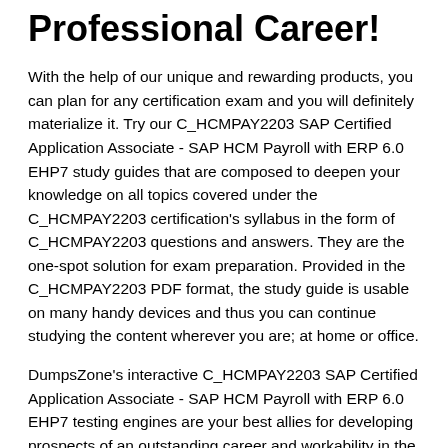Professional Career!
With the help of our unique and rewarding products, you can plan for any certification exam and you will definitely materialize it. Try our C_HCMPAY2203 SAP Certified Application Associate - SAP HCM Payroll with ERP 6.0 EHP7 study guides that are composed to deepen your knowledge on all topics covered under the C_HCMPAY2203 certification's syllabus in the form of C_HCMPAY2203 questions and answers. They are the one-spot solution for exam preparation. Provided in the C_HCMPAY2203 PDF format, the study guide is usable on many handy devices and thus you can continue studying the content wherever you are; at home or office.
DumpsZone's interactive C_HCMPAY2203 SAP Certified Application Associate - SAP HCM Payroll with ERP 6.0 EHP7 testing engines are your best allies for developing prospects of an outstanding career and workability in the IT industry. Try as many C_HCMPAY2203 SAP Certified Application Associate - SAP HCM Payroll with ERP 6.0 EHP7 certification exam, DumpsZone will never let you feel frustrated. You will find our braindumps always far more effective than any recommended preparatory source. C_HCMPAY2203 VCE files and online...